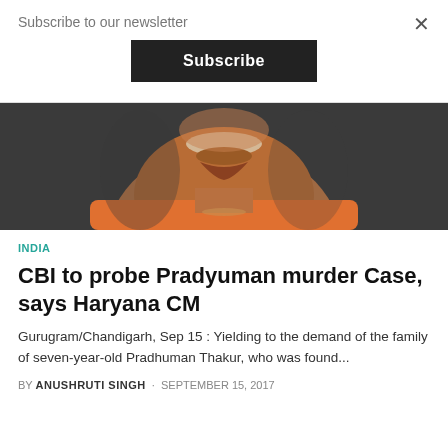Subscribe to our newsletter
Subscribe
×
[Figure (photo): Close-up photograph of a middle-aged man with a mustache wearing an orange/saffron garment, against a dark background. Only the lower face, neck and upper chest are visible.]
INDIA
CBI to probe Pradyuman murder Case, says Haryana CM
Gurugram/Chandigarh, Sep 15 : Yielding to the demand of the family of seven-year-old Pradhuman Thakur, who was found...
BY ANUSHRUTI SINGH · SEPTEMBER 15, 2017